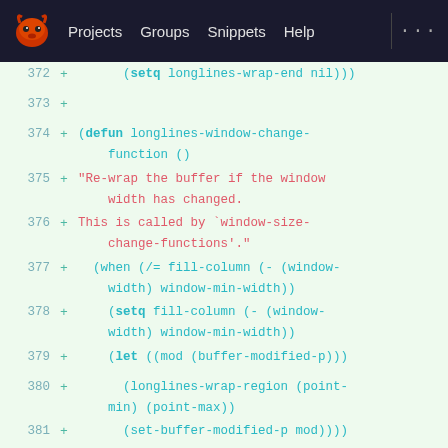[Figure (screenshot): GitLab-style web IDE navigation bar with logo, Projects, Groups, Snippets, Help links on dark background]
372  +      (setq longlines-wrap-end nil)))
373  +
374  + (defun longlines-window-change-
     function ()
375  +   "Re-wrap the buffer if the window
     width has changed.
376  + This is called by `window-size-
     change-functions'."
377  +   (when (/= fill-column (- (window-
     width) window-min-width))
378  +     (setq fill-column (- (window-
     width) window-min-width))
379  +     (let ((mod (buffer-modified-p)))
380  +       (longlines-wrap-region (point-
     min) (point-max))
381  +       (set-buffer-modified-p mod))))
382  +
383  + ;; Loading and saving
384  +
385  + (add-to-list